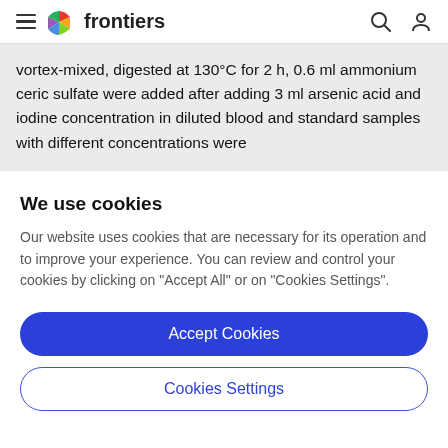frontiers
vortex-mixed, digested at 130°C for 2 h, 0.6 ml ammonium ceric sulfate were added after adding 3 ml arsenic acid and iodine concentration in diluted blood and standard samples with different concentrations were
We use cookies
Our website uses cookies that are necessary for its operation and to improve your experience. You can review and control your cookies by clicking on "Accept All" or on "Cookies Settings".
Accept Cookies
Cookies Settings